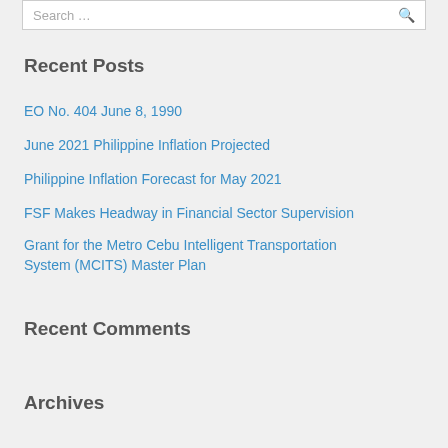Recent Posts
EO No. 404 June 8, 1990
June 2021 Philippine Inflation Projected
Philippine Inflation Forecast for May 2021
FSF Makes Headway in Financial Sector Supervision
Grant for the Metro Cebu Intelligent Transportation System (MCITS) Master Plan
Recent Comments
Archives